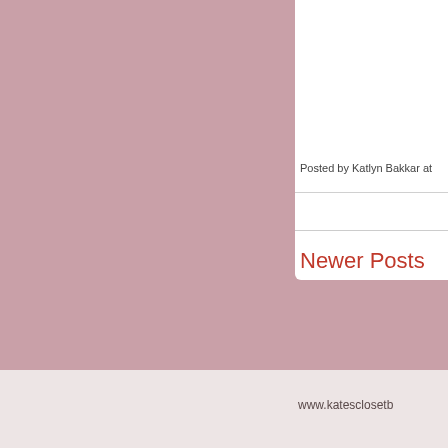[Figure (other): Dusty rose/mauve background covering the upper portion of the page with a white content card in the upper right area]
Posted by Katlyn Bakkar at
Newer Posts
www.katesclosetb